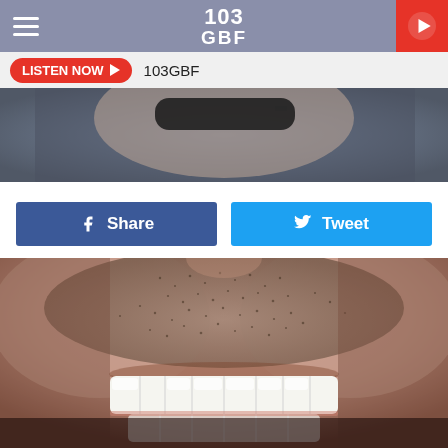103 GBF
LISTEN NOW  103GBF
[Figure (photo): Close-up photo of a person with sunglasses and dark background, top portion visible]
[Figure (other): Share and Tweet social media buttons row: blue Facebook Share button and cyan Twitter Tweet button]
[Figure (photo): Close-up photo of a man smiling, showing teeth, with stubble beard]